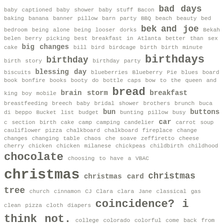[Figure (infographic): A tag cloud of blog/website category labels in varying font sizes indicating relative frequency or importance. Terms range from small monospace text to large bold text. Topics include food, parenting, holidays, crafts, and lifestyle. All text is in a grayish-brown monospace font on white background.]